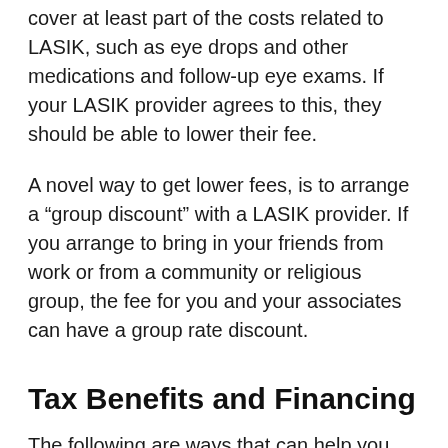cover at least part of the costs related to LASIK, such as eye drops and other medications and follow-up eye exams. If your LASIK provider agrees to this, they should be able to lower their fee.
A novel way to get lower fees, is to arrange a “group discount” with a LASIK provider. If you arrange to bring in your friends from work or from a community or religious group, the fee for you and your associates can have a group rate discount.
Tax Benefits and Financing
The following are ways that can help you pay for LASIK:
– Health Savings Account (HSA): This is a special type of